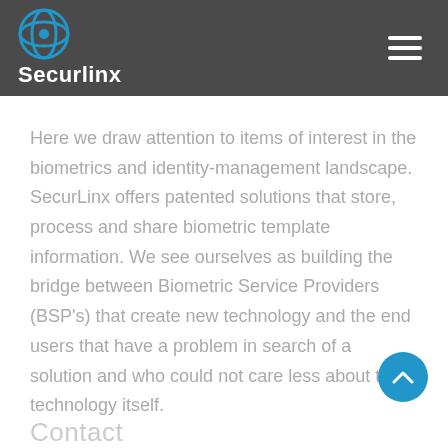Securlinx
Here we draw attention to items of interest in the biometrics and identity-management landscape. SecurLinx offers patented solutions that store, process and share biometric template information. We see ourselves as building the bridge between Biometric Service Providers (BSP's) that create new technology and the end users that have a problem in search of a solution and who could not care less about the technology itself.
Contact